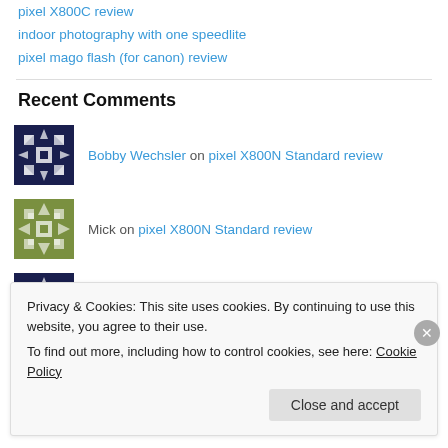pixel X800C review
indoor photography with one speedlite
pixel mago flash (for canon) review
Recent Comments
Bobby Wechsler on pixel X800N Standard review
Mick on pixel X800N Standard review
Bobby Wechsler on pixel X800N Standard review
Privacy & Cookies: This site uses cookies. By continuing to use this website, you agree to their use. To find out more, including how to control cookies, see here: Cookie Policy
Close and accept